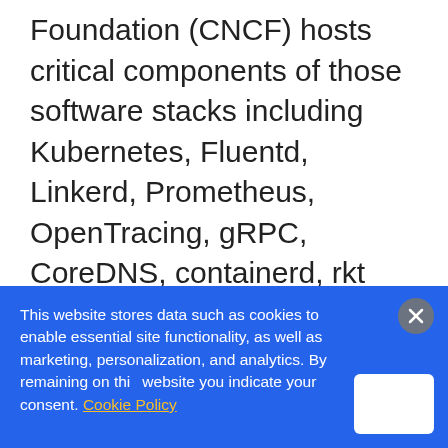Foundation (CNCF) hosts critical components of those software stacks including Kubernetes, Fluentd, Linkerd, Prometheus, OpenTracing, gRPC, CoreDNS, containerd, rkt and CNI; brings together the industry's top developers, end users and vendors; and serves as a neutral home for collaboration. CNCF is part of The Linux Foundation, a nonprofit organization. For
This website stores data such as cookies to enable essential site functionality, as well as marketing, personalization, and analytics. By remaining on this website you indicate your consent. Cookie Policy